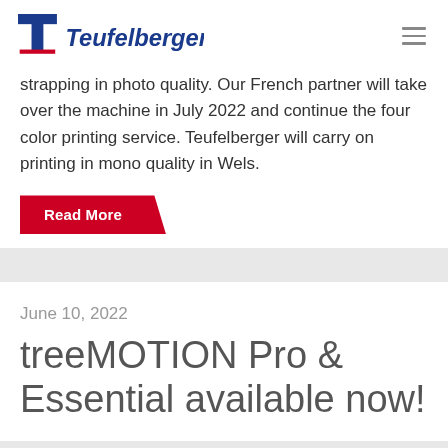Teufelberger
strapping in photo quality. Our French partner will take over the machine in July 2022 and continue the four color printing service. Teufelberger will carry on printing in mono quality in Wels.
Read More
June 10, 2022
treeMOTION Pro & Essential available now!